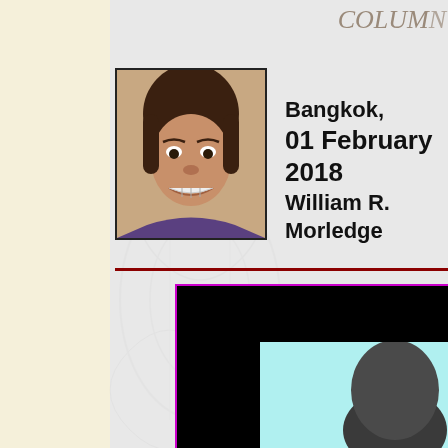COLUM
[Figure (photo): Headshot photo of a man with dark hair making an intense expression, framed with a black border]
Bangkok,
01 February 2018
William R. Morledge
[Figure (photo): Large image with black border and pink/magenta outline, showing a light blue background with the top of a dark-haired person's head visible at the bottom right corner]